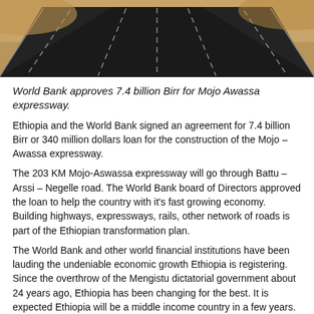[Figure (photo): Aerial view of a multi-lane expressway curving through dry, arid landscape]
World Bank approves 7.4 billion Birr for Mojo Awassa expressway.
Ethiopia and the World Bank signed an agreement for 7.4 billion Birr or 340 million dollars loan for the construction of the Mojo – Awassa expressway.
The 203 KM Mojo-Aswassa expressway will go through Battu – Arssi – Negelle road. The World Bank board of Directors approved the loan to help the country with it's fast growing economy. Building highways, expressways, rails, other network of roads is part of the Ethiopian transformation plan.
The World Bank and other world financial institutions have been lauding the undeniable economic growth Ethiopia is registering. Since the overthrow of the Mengistu dictatorial government about 24 years ago, Ethiopia has been changing for the best. It is expected Ethiopia will be a middle income country in a few years.